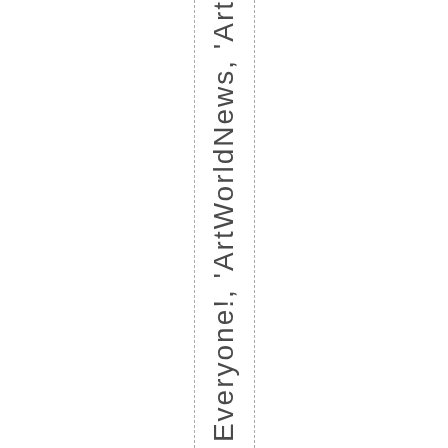Everyone!, 'ArtWorldNews, 'Art